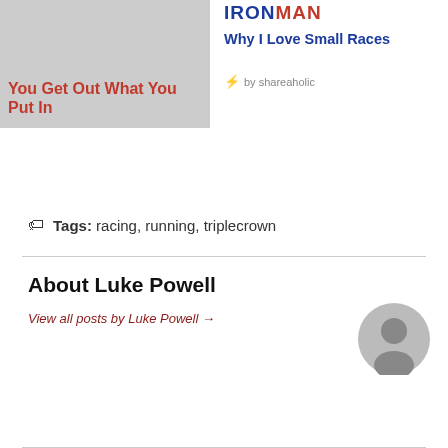[Figure (photo): Gray placeholder image card on the left with red bold title text 'You Get Out What You Put In']
You Get Out What You Put In
[Figure (logo): IRONMAN logo in blue and red text above 'Why I Love Small Races' title]
Why I Love Small Races
⚡ by shareaholic
Tags: racing, running, triplecrown
About Luke Powell
View all posts by Luke Powell →
[Figure (illustration): Gray circular avatar/person icon placeholder image]